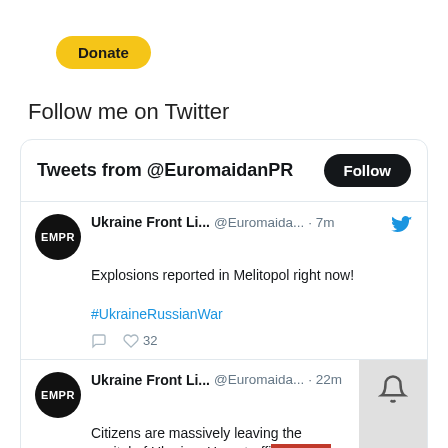[Figure (other): Yellow PayPal Donate button with rounded pill shape]
Follow me on Twitter
[Figure (screenshot): Twitter widget showing tweets from @EuromaidanPR with a Follow button. Two tweets visible: 1) Ukraine Front Li... @Euromaida... · 7m - Explosions reported in Melitopol right now! #UkraineRussianWar with 32 likes. 2) Ukraine Front Li... @Euromaida... · 22m - Citizens are massively leaving the capital of Ukraine. Huge traffi[c]... [Zh]ytomyr highway. Partially obscured by a language selector bar showing English.]